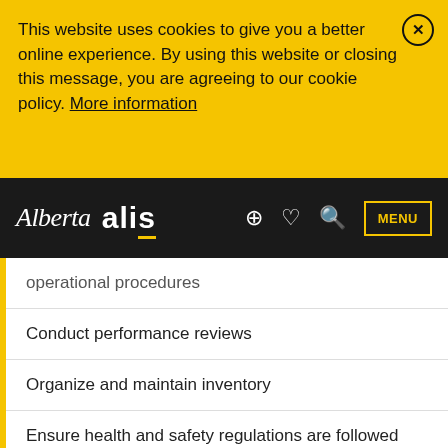This website uses cookies to give you a better online experience. By using this website or closing this message, you are agreeing to our cookie policy. More information
Alberta ALIS
operational procedures
Conduct performance reviews
Organize and maintain inventory
Ensure health and safety regulations are followed
Negotiate with clients for catering or use of facilities
Set staff work schedules and monitor staff performance
Address customers' complaints or concerns
Provide customer service
Recruit, train and supervise staff